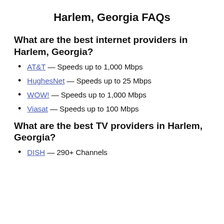Harlem, Georgia FAQs
What are the best internet providers in Harlem, Georgia?
AT&T — Speeds up to 1,000 Mbps
HughesNet — Speeds up to 25 Mbps
WOW! — Speeds up to 1,000 Mbps
Viasat — Speeds up to 100 Mbps
What are the best TV providers in Harlem, Georgia?
DISH — 290+ Channels